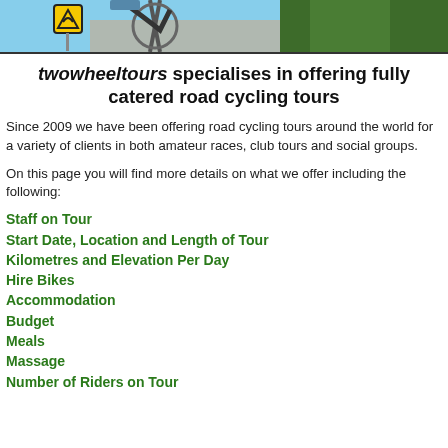[Figure (photo): Banner photo showing road cycling scene with trees, sky, yellow road sign, and bicycle fork/handlebars]
twowheeltours specialises in offering fully catered road cycling tours
Since 2009 we have been offering road cycling tours around the world for a variety of clients in both amateur races, club tours and social groups.
On this page you will find more details on what we offer including the following:
Staff on Tour
Start Date, Location and Length of Tour
Kilometres and Elevation Per Day
Hire Bikes
Accommodation
Budget
Meals
Massage
Number of Riders on Tour